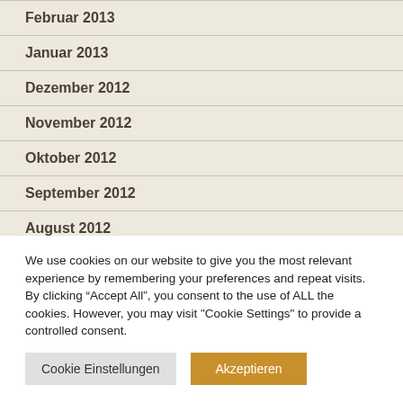Februar 2013
Januar 2013
Dezember 2012
November 2012
Oktober 2012
September 2012
August 2012
We use cookies on our website to give you the most relevant experience by remembering your preferences and repeat visits. By clicking “Accept All”, you consent to the use of ALL the cookies. However, you may visit "Cookie Settings" to provide a controlled consent.
Cookie Einstellungen
Akzeptieren